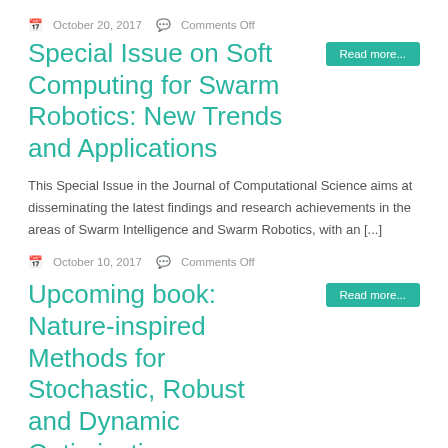October 20, 2017   Comments Off
Special Issue on Soft Computing for Swarm Robotics: New Trends and Applications
This Special Issue in the Journal of Computational Science aims at disseminating the latest findings and research achievements in the areas of Swarm Intelligence and Swarm Robotics, with an [...]
October 10, 2017   Comments Off
Upcoming book: Nature-inspired Methods for Stochastic, Robust and Dynamic Optimization